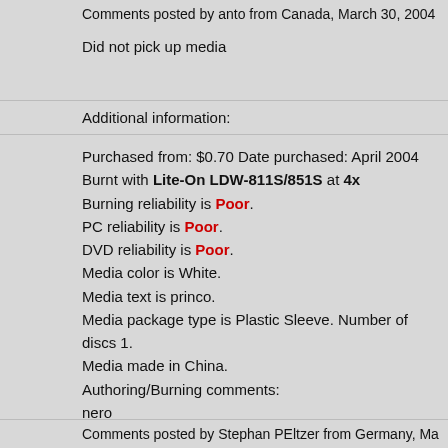Comments posted by anto from Canada, March 30, 2004
Did not pick up media
Additional information:
Purchased from: $0.70 Date purchased: April 2004
Burnt with Lite-On LDW-811S/851S at 4x
Burning reliability is Poor.
PC reliability is Poor.
DVD reliability is Poor.
Media color is White.
Media text is princo.
Media package type is Plastic Sleeve. Number of discs 1.
Media made in China.
Authoring/Burning comments:
nero
Comments posted by Stephan PEltzer from Germany, Ma